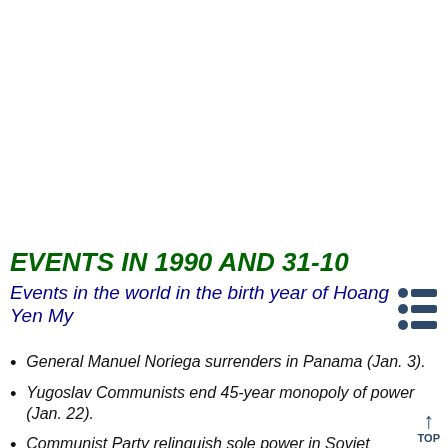EVENTS IN 1990 AND 31-10
Events in the world in the birth year of Hoang Yen My
General Manuel Noriega surrenders in Panama (Jan. 3).
Yugoslav Communists end 45-year monopoly of power (Jan. 22).
Communist Party relinquish sole power in Soviet